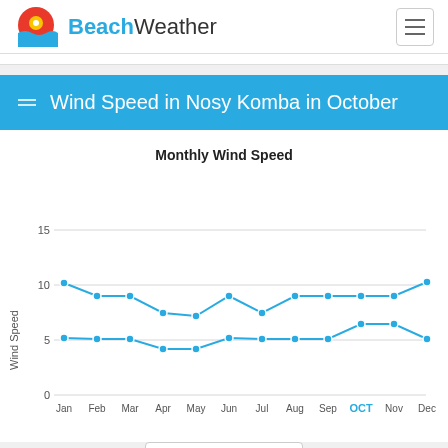BeachWeather
Wind Speed in Nosy Komba in October
[Figure (line-chart): Monthly Wind Speed]
Max   Ave